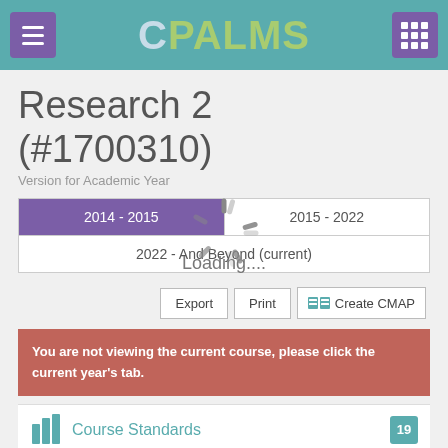CPALMS
Research 2 (#1700310)
Version for Academic Year
2014 - 2015 | 2015 - 2022 | 2022 - And Beyond (current)
Loading....
Export | Print | Create CMAP
You are not viewing the current course, please click the current year's tab.
Course Standards 19